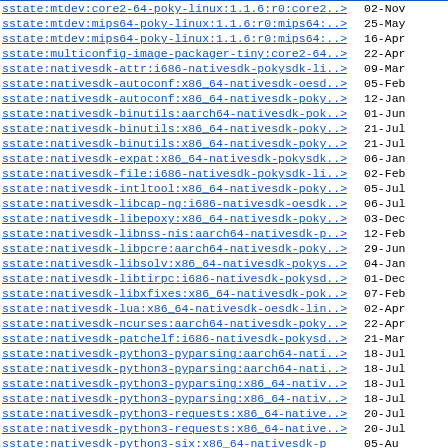| Link | Date |
| --- | --- |
| sstate:mtdev:core2-64-poky-linux:1.1.6:r0:core2..> | 02-Nov |
| sstate:mtdev:mips64-poky-linux:1.1.6:r0:mips64:..> | 25-May |
| sstate:mtdev:mips64-poky-linux:1.1.6:r0:mips64:..> | 16-Apr |
| sstate:multiconfig-image-packager-tiny:core2-64..> | 22-Apr |
| sstate:nativesdk-attr:i686-nativesdk-pokysdk-li..> | 09-Mar |
| sstate:nativesdk-autoconf:x86_64-nativesdk-oesd..> | 05-Feb |
| sstate:nativesdk-autoconf:x86_64-nativesdk-poky..> | 12-Jan |
| sstate:nativesdk-binutils:aarch64-nativesdk-pok..> | 01-Jun |
| sstate:nativesdk-binutils:x86_64-nativesdk-poky..> | 21-Jul |
| sstate:nativesdk-binutils:x86_64-nativesdk-poky..> | 21-Jul |
| sstate:nativesdk-expat:x86_64-nativesdk-pokysdk..> | 06-Jan |
| sstate:nativesdk-file:i686-nativesdk-pokysdk-li..> | 02-Feb |
| sstate:nativesdk-intltool:x86_64-nativesdk-poky..> | 05-Jul |
| sstate:nativesdk-libcap-ng:i686-nativesdk-oesdk..> | 06-Jul |
| sstate:nativesdk-libepoxy:x86_64-nativesdk-poky..> | 03-Dec |
| sstate:nativesdk-libnss-nis:aarch64-nativesdk-p..> | 12-Feb |
| sstate:nativesdk-libpcre:aarch64-nativesdk-poky..> | 29-Jun |
| sstate:nativesdk-libsolv:x86_64-nativesdk-pokys..> | 04-Jan |
| sstate:nativesdk-libtirpc:i686-nativesdk-pokysd..> | 01-Dec |
| sstate:nativesdk-libxfixes:x86_64-nativesdk-pok..> | 07-Feb |
| sstate:nativesdk-lua:x86_64-nativesdk-oesdk-lin..> | 02-Apr |
| sstate:nativesdk-ncurses:aarch64-nativesdk-poky..> | 22-Apr |
| sstate:nativesdk-patchelf:i686-nativesdk-pokysd..> | 21-Mar |
| sstate:nativesdk-python3-pyparsing:aarch64-nati..> | 18-Jul |
| sstate:nativesdk-python3-pyparsing:aarch64-nati..> | 18-Jul |
| sstate:nativesdk-python3-pyparsing:x86_64-nativ..> | 18-Jul |
| sstate:nativesdk-python3-pyparsing:x86_64-nativ..> | 18-Jul |
| sstate:nativesdk-python3-requests:x86_64-native..> | 20-Jul |
| sstate:nativesdk-python3-requests:x86_64-native..> | 20-Jul |
| sstate:nativesdk-python3-six:x86_64-nativesdk-p | 05-Au |